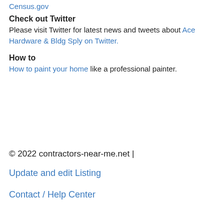Census.gov
Check out Twitter
Please visit Twitter for latest news and tweets about Ace Hardware & Bldg Sply on Twitter.
How to
How to paint your home like a professional painter.
© 2022 contractors-near-me.net |
Update and edit Listing
Contact / Help Center